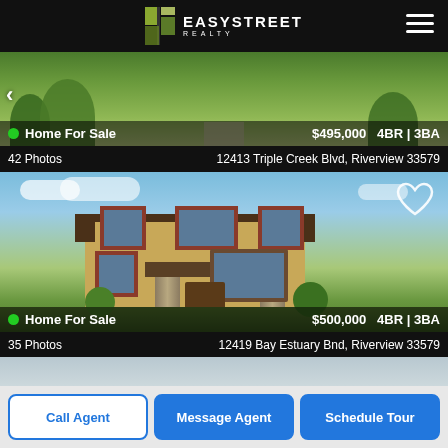[Figure (logo): EasyStreet Realty logo with stylized building icon and hamburger menu]
[Figure (photo): Aerial/exterior photo of home with green trees and landscaping, listing 1]
Home For Sale   $495,000   4BR | 3BA
42 Photos   12413 Triple Creek Blvd, Riverview 33579
[Figure (photo): Two-story tan/beige home with red shutters, stone columns, professional landscaping, blue sky]
Home For Sale   $500,000   4BR | 3BA
35 Photos   12419 Bay Estuary Bnd, Riverview 33579
[Figure (photo): Partial view of third home listing, beige exterior]
Call Agent
Message Agent
Schedule Tour